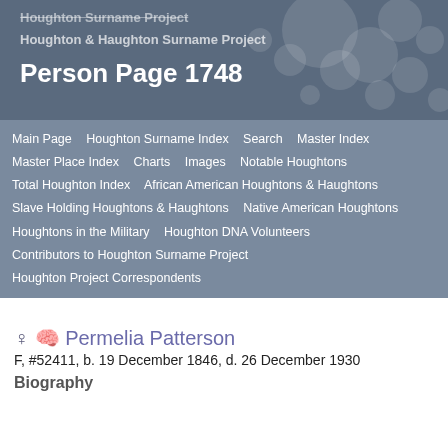Houghton Surname Project
Houghton & Haughton Surname Project
Person Page 1748
Main Page   Houghton Surname Index   Search   Master Index   Master Place Index   Charts   Images   Notable Houghtons   Total Houghton Index   African American Houghtons & Haughtons   Slave Holding Houghtons & Haughtons   Native American Houghtons   Houghtons in the Military   Houghton DNA Volunteers   Contributors to Houghton Surname Project   Houghton Project Correspondents
♀ 🧠 Permelia Patterson
F, #52411, b. 19 December 1846, d. 26 December 1930
Biography
|  |  |  |
| --- | --- | --- |
| Birth | Dec 19, 1846 | Macon, GA, USA, age 24 in 1870 census; age... |
| 1870 Census | 1870 | Augusta, Richmond Co., GA, USA, age 36, a... |
| 1880 | Jun, 1880 | District 119, Richmond Co., GA, USA, age 4... |